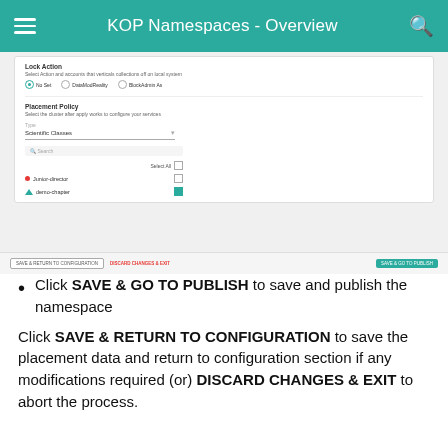KOP Namespaces - Overview
[Figure (screenshot): UI screenshot showing a namespace configuration form with Placement Policy section, Scientific Classes dropdown, search field, list items (Junior-director unchecked, demo-chapter checked), and bottom action buttons: SAVE & RETURN TO CONFIGURATION, DISCARD CHANGES & EXIT, SAVE & GO TO PUBLISH]
Click SAVE & GO TO PUBLISH to save and publish the namespace
Click SAVE & RETURN TO CONFIGURATION to save the placement data and return to configuration section if any modifications required (or) DISCARD CHANGES & EXIT to abort the process.